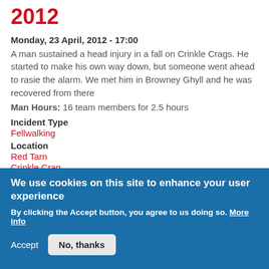2012
Monday, 23 April, 2012 - 17:00
A man sustained a head injury in a fall on Crinkle Crags. He started to make his own way down, but someone went ahead to rasie the alarm. We met him in Browney Ghyll and he was recovered from there
Man Hours: 16 team members for 2.5 hours
Incident Type
Fellwalking
Location
Red Tarn
Crinkle Crag
Browney Ghyll
We use cookies on this site to enhance your user experience
By clicking the Accept button, you agree to us doing so. More info
Accept   No, thanks